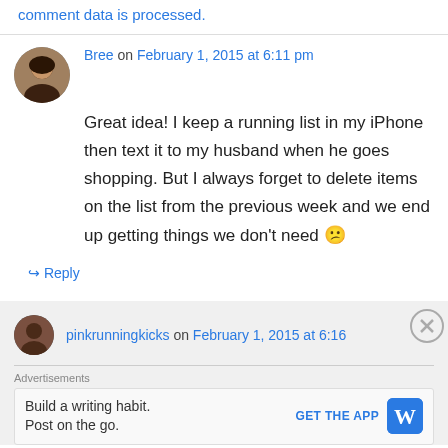comment data is processed.
Bree on February 1, 2015 at 6:11 pm
Great idea! I keep a running list in my iPhone then text it to my husband when he goes shopping. But I always forget to delete items on the list from the previous week and we end up getting things we don't need 😕
↳ Reply
pinkrunningkicks on February 1, 2015 at 6:16
Advertisements
Build a writing habit. Post on the go.
GET THE APP